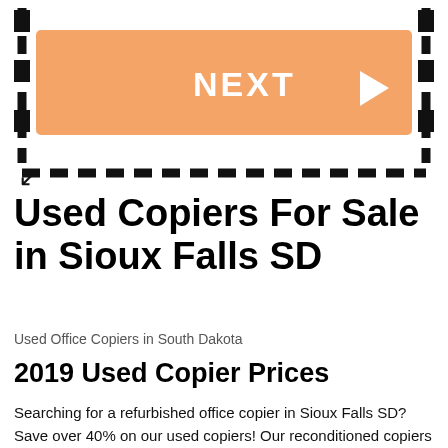[Figure (other): Dashed border box with orange NEXT button with triangle arrow and curved bottom arrow indicating navigation]
Used Copiers For Sale in Sioux Falls SD
Used Office Copiers in South Dakota
2019 Used Copier Prices
Searching for a refurbished office copier in Sioux Falls SD? Save over 40% on our used copiers! Our reconditioned copiers go through an extensive